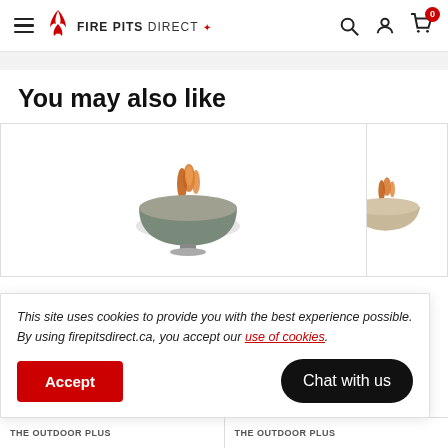Fire Pits Direct — website header with navigation, search, account, and cart icons
You may also like
[Figure (photo): Two product cards showing round fire bowl pits with flames, side by side in a product grid]
This site uses cookies to provide you with the best experience possible. By using firepitsdirect.ca, you accept our use of cookies.
Accept | Chat with us